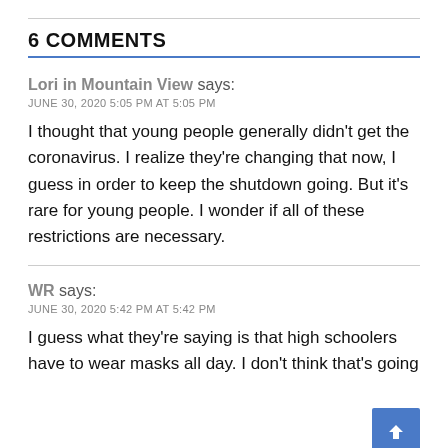6 COMMENTS
Lori in Mountain View says:
JUNE 30, 2020 5:05 PM AT 5:05 PM
I thought that young people generally didn't get the coronavirus. I realize they're changing that now, I guess in order to keep the shutdown going. But it's rare for young people. I wonder if all of these restrictions are necessary.
WR says:
JUNE 30, 2020 5:42 PM AT 5:42 PM
I guess what they're saying is that high schoolers have to wear masks all day. I don't think that's going